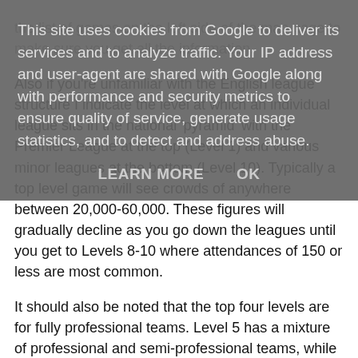the list of games on the left side of the map page to make sure you get all the information.
Also if you're unfamiliar with the English league structure I indicate the level at which an individual league sits in the national 'pyramid' with the Premier League at the top (Level 1) and various minor leagues at the bottom (Level 10). Typically a top level game will see crowds of anywhere between 20,000-60,000. These figures will gradually decline as you go down the leagues until you get to Levels 8-10 where attendances of 150 or less are most common.
It should also be noted that the top four levels are for fully professional teams. Level 5 has a mixture of professional and semi-professional teams, while Levels 6-10 will see
This site uses cookies from Google to deliver its services and to analyze traffic. Your IP address and user-agent are shared with Google along with performance and security metrics to ensure quality of service, generate usage statistics, and to detect and address abuse.
LEARN MORE    OK